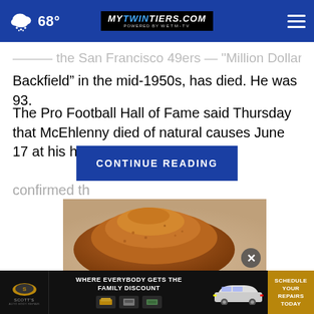68° mytwintiers.com
Backfield" in the mid-1950s, has died. He was 93.
The Pro Football Hall of Fame said Thursday that McEhlenny died of natural causes June 17 at his home in Nevada, and [mann] confirmed th...
[Figure (other): CONTINUE READING button overlay on article text]
[Figure (photo): Close-up photo of a pile of brown spice/powder on a surface]
[Figure (other): Scott's auto repair advertisement banner with logo, family discount headline, car image, and schedule repairs CTA]